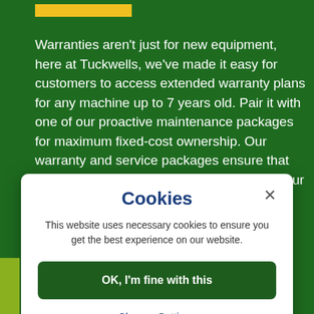Warranties aren't just for new equipment, here at Tuckwells, we've made it easy for customers to access extended warranty plans for any machine up to 7 years old. Pair it with one of our proactive maintenance packages for maximum fixed-cost ownership. Our warranty and service packages ensure that you're covered for future losses, keeping your cost of operation at a minimum while maximising operational uptime.
Cookies
This website uses necessary cookies to ensure you get the best experience on our website.
OK, I'm fine with this
Change Settings